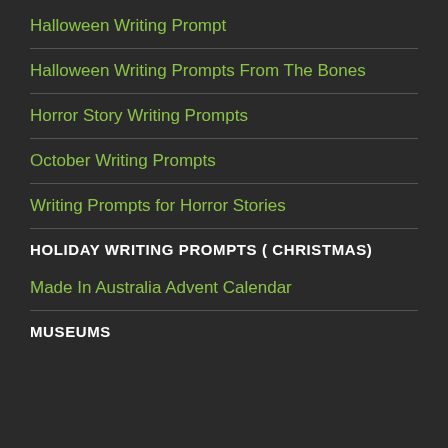Halloween Writing Prompt
Halloween Writing Prompts From The Bones
Horror Story Writing Prompts
October Writing Prompts
Writing Prompts for Horror Stories
HOLIDAY WRITING PROMPTS ( CHRISTMAS)
Made In Australia Advent Calendar
MUSEUMS